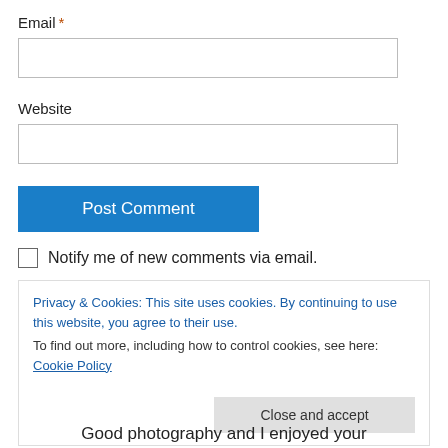Email *
[Figure (screenshot): Empty text input field for email]
Website
[Figure (screenshot): Empty text input field for website]
[Figure (screenshot): Post Comment button (blue)]
Notify me of new comments via email.
Privacy & Cookies: This site uses cookies. By continuing to use this website, you agree to their use. To find out more, including how to control cookies, see here: Cookie Policy
[Figure (screenshot): Close and accept button]
Good photography and I enjoyed your